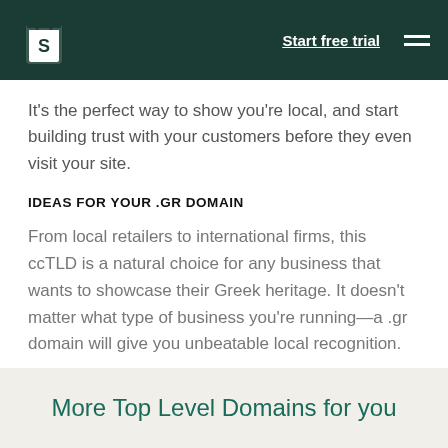Start free trial
It's the perfect way to show you're local, and start building trust with your customers before they even visit your site.
IDEAS FOR YOUR .GR DOMAIN
From local retailers to international firms, this ccTLD is a natural choice for any business that wants to showcase their Greek heritage. It doesn't matter what type of business you're running—a .gr domain will give you unbeatable local recognition.
More Top Level Domains for you